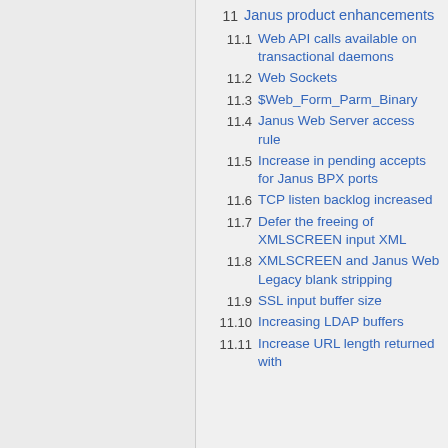11  Janus product enhancements
11.1  Web API calls available on transactional daemons
11.2  Web Sockets
11.3  $Web_Form_Parm_Binary
11.4  Janus Web Server access rule
11.5  Increase in pending accepts for Janus BPX ports
11.6  TCP listen backlog increased
11.7  Defer the freeing of XMLSCREEN input XML
11.8  XMLSCREEN and Janus Web Legacy blank stripping
11.9  SSL input buffer size
11.10  Increasing LDAP buffers
11.11  Increase URL length returned with